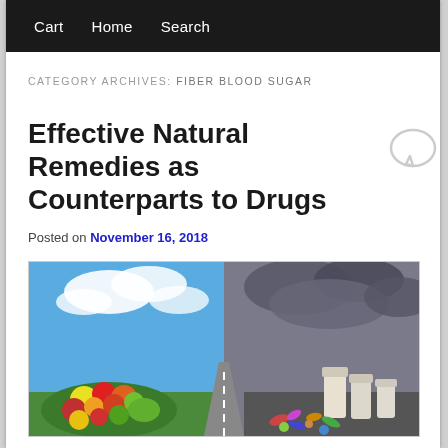Cart   Home   Search
CATEGORY ARCHIVES: FIBER BLOOD SUGAR
Effective Natural Remedies as Counterparts to Drugs
Posted on November 16, 2018
[Figure (photo): Split image showing colorful fresh vegetables and fruits on the left side with a bright blue sky, and pharmaceutical pill bottles and capsules on the right side with dark stormy clouds, separated by a forked road in the center.]